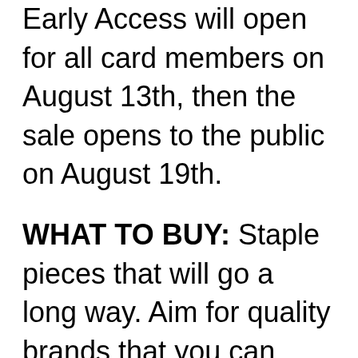Early Access will open for all card members on August 13th, then the sale opens to the public on August 19th.
WHAT TO BUY: Staple pieces that will go a long way. Aim for quality brands that you can dress up. Brands like Spanx and